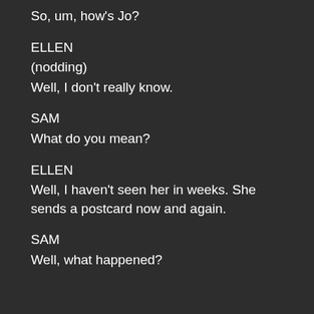So, um, how's Jo?
ELLEN
(nodding)
Well, I don't really know.
SAM
What do you mean?
ELLEN
Well, I haven't seen her in weeks. She sends a postcard now and again.
SAM
Well, what happened?